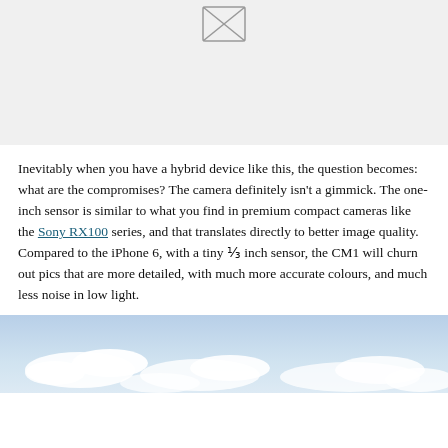[Figure (other): Placeholder image box with broken image icon, light gray background]
Inevitably when you have a hybrid device like this, the question becomes: what are the compromises? The camera definitely isn't a gimmick. The one-inch sensor is similar to what you find in premium compact cameras like the Sony RX100 series, and that translates directly to better image quality. Compared to the iPhone 6, with a tiny ⅓ inch sensor, the CM1 will churn out pics that are more detailed, with much more accurate colours, and much less noise in low light.
[Figure (photo): Sky photograph showing blue sky with white clouds]